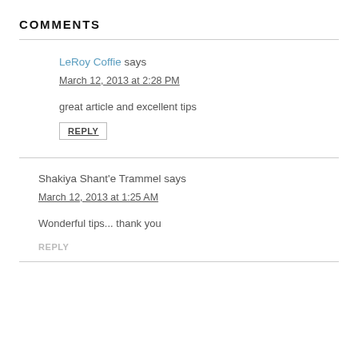COMMENTS
LeRoy Coffie says
March 12, 2013 at 2:28 PM
great article and excellent tips
REPLY
Shakiya Shant'e Trammel says
March 12, 2013 at 1:25 AM
Wonderful tips... thank you
REPLY